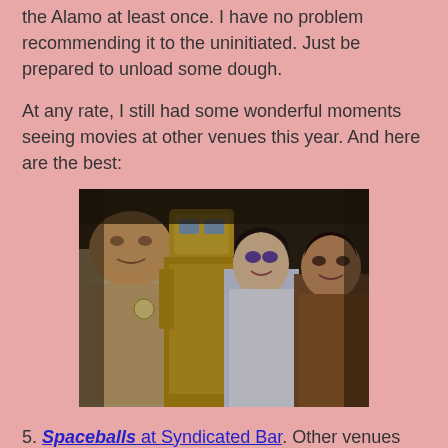the Alamo at least once. I have no problem recommending it to the uninitiated. Just be prepared to unload some dough.
At any rate, I still had some wonderful moments seeing movies at other venues this year. And here are the best:
[Figure (photo): A movie still showing four characters: a heavyset man in a tan uniform on the left, a golden robot/android in the center-left, a young woman in a white dress in the center, and a man in a brown jacket on the right. Scene appears to be from the movie Spaceballs.]
5. Spaceballs at Syndicated Bar. Other venues are starting to replicate the Alamo experience, and Syndicated, also in Brooklyn, is one of them. It's a repertory house and not a first-run, but I enjoyed their food and drink, their seats are very comfortable, and they're a whole lot cheaper. Seeing a great movie like Spaceballs with my friend Alicia was the icing on the cake. I hope to go back there this year.